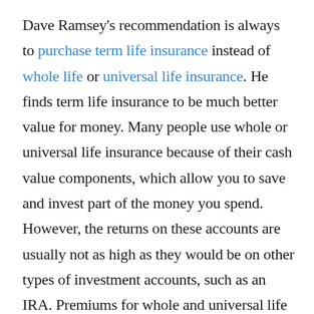Dave Ramsey's recommendation is always to purchase term life insurance instead of whole life or universal life insurance. He finds term life insurance to be much better value for money. Many people use whole or universal life insurance because of their cash value components, which allow you to save and invest part of the money you spend. However, the returns on these accounts are usually not as high as they would be on other types of investment accounts, such as an IRA. Premiums for whole and universal life insurance are also usually much higher than premiums for term life insurance.